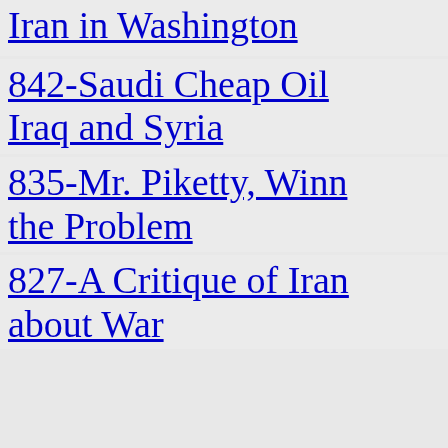Iran in Washington
842-Saudi Cheap Oil Iraq and Syria
835-Mr. Piketty, Winn the Problem
827-A Critique of Iran about War